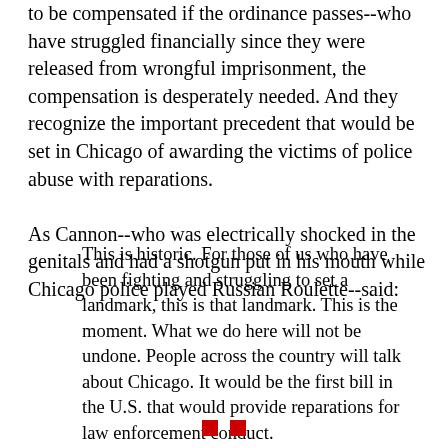to be compensated if the ordinance passes--who have struggled financially since they were released from wrongful imprisonment, the compensation is desperately needed. And they recognize the important precedent that would be set in Chicago of awarding the victims of police abuse with reparations.
As Cannon--who was electrically shocked in the genitals and had a shotgun put in his mouth while Chicago police played Russian Roulette--said:
This is historic. For those of us who have been fighting and struggling to set a landmark, this is that landmark. This is the moment. What we do here will not be undone. People across the country will talk about Chicago. It would be the first bill in the U.S. that would provide reparations for law enforcement conduct.
■ ■